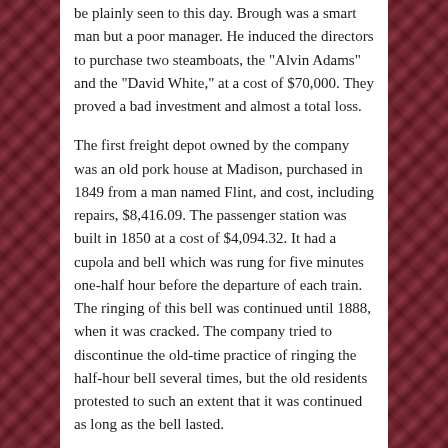be plainly seen to this day. Brough was a smart man but a poor manager. He induced the directors to purchase two steamboats, the "Alvin Adams" and the "David White," at a cost of $70,000. They proved a bad investment and almost a total loss.
The first freight depot owned by the company was an old pork house at Madison, purchased in 1849 from a man named Flint, and cost, including repairs, $8,416.09. The passenger station was built in 1850 at a cost of $4,094.32. It had a cupola and bell which was rung for five minutes one-half hour before the departure of each train. The ringing of this bell was continued until 1888, when it was cracked. The company tried to discontinue the old-time practice of ringing the half-hour bell several times, but the old residents protested to such an extent that it was continued as long as the bell lasted.
Things were run pretty loose on the road in those early days, and no check was kept on any of the employees handling the company's funds. The favored ones remitted what and when they pleased. Previous to the use of tickets on trains, the conductor would fill out a blank with name of passenger, starting and stopping point and amount of fare collected. This was sent to the president, who kept the record in his office. Madison was the second pork-packing